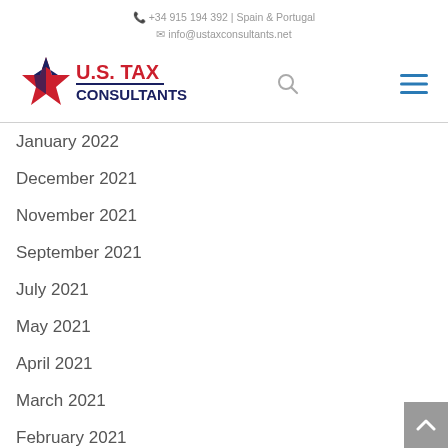+34 915 194 392 | Spain & Portugal
info@ustaxconsultants.net
[Figure (logo): U.S. Tax Consultants logo with star icon and company name]
January 2022
December 2021
November 2021
September 2021
July 2021
May 2021
April 2021
March 2021
February 2021
January 2021
December 2020
November 2020